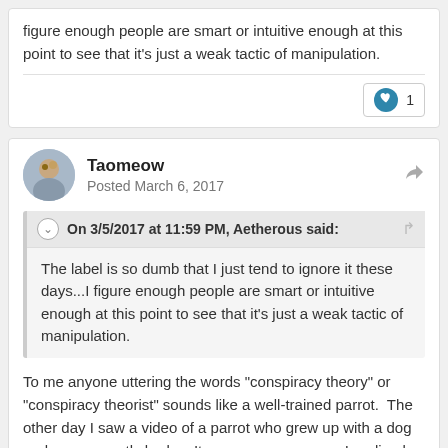figure enough people are smart or intuitive enough at this point to see that it's just a weak tactic of manipulation.
Taomeow
Posted March 6, 2017
On 3/5/2017 at 11:59 PM, Aetherous said:
The label is so dumb that I just tend to ignore it these days...I figure enough people are smart or intuitive enough at this point to see that it's just a weak tactic of manipulation.
To me anyone uttering the words "conspiracy theory" or "conspiracy theorist" sounds like a well-trained parrot.  The other day I saw a video of a parrot who grew up with a dog and consequently barks.  It was an eye opener.  I realized that those who keep repeating like a sacred mantra this meaningless "conspiracy theory" sound (whose only meaning is to present